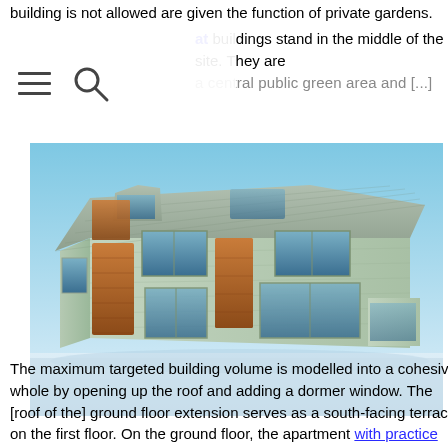building is not allowed are given the function of private gardens.
apt buildings stand in the middle of the site. They are a central public green area and [...]
[Figure (illustration): 3D architectural rendering of a modern residential building with brick facade, wood cladding accents, large windows, dormer windows on the roof, and a ground floor extension. Blue sky background.]
The maximum targeted building volume is modelled into a cohesive whole by opening up the roof and adding a dormer window. The [roof of the] ground floor extension serves as a south-facing terrace on the first floor. On the ground floor, the apartment with practice space also has a garden.  All apartments are south